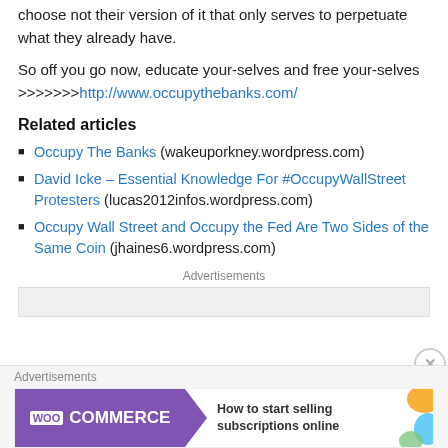choose not their version of it that only serves to perpetuate what they already have.
So off you go now, educate your-selves and free your-selves >>>>>>> http://www.occupythebanks.com/
Related articles
Occupy The Banks (wakeuporkney.wordpress.com)
David Icke – Essential Knowledge For #OccupyWallStreet Protesters (lucas2012infos.wordpress.com)
Occupy Wall Street and Occupy the Fed Are Two Sides of the Same Coin (jhaines6.wordpress.com)
Advertisements
[Figure (screenshot): WooCommerce advertisement banner: purple background with WooCommerce logo, green arrow, text 'How to start selling subscriptions online', decorative colored shapes on right side]